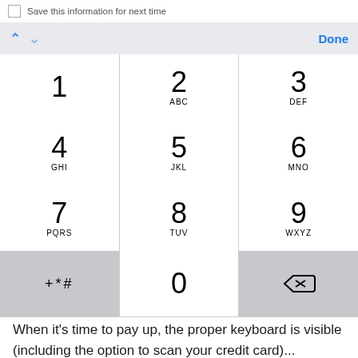[Figure (screenshot): iOS phone number keypad with toolbar showing up/down navigation arrows and Done button. Keypad shows digits 1-9, 0, +*# key, and delete key in a standard telephone layout.]
When it's time to pay up, the proper keyboard is visible (including the option to scan your credit card)...